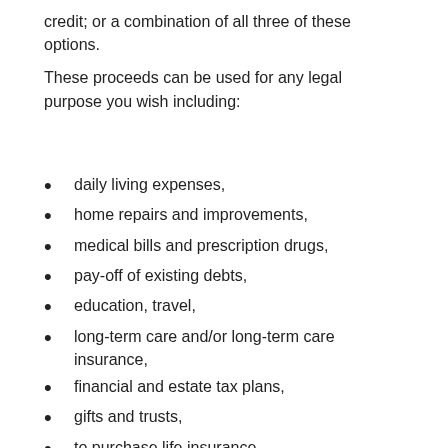credit; or a combination of all three of these options.
These proceeds can be used for any legal purpose you wish including:
daily living expenses,
home repairs and improvements,
medical bills and prescription drugs,
pay-off of existing debts,
education, travel,
long-term care and/or long-term care insurance,
financial and estate tax plans,
gifts and trusts,
to purchase life insurance,
or any other needs you may have.